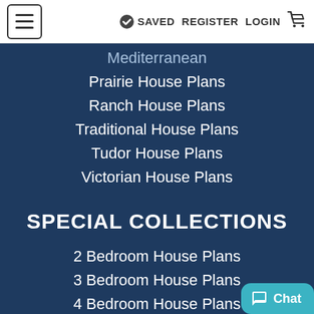≡  SAVED  REGISTER  LOGIN  🛒
Mediterranean
Prairie House Plans
Ranch House Plans
Traditional House Plans
Tudor House Plans
Victorian House Plans
SPECIAL COLLECTIONS
2 Bedroom House Plans
3 Bedroom House Plans
4 Bedroom House Plans
5 Bedroom House Plans
6 Bedroom House Plans
Luxury House Plans
Mansion Floor Plans